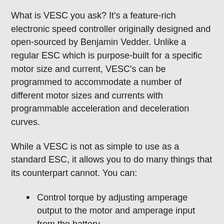What is VESC you ask? It's a feature-rich electronic speed controller originally designed and open-sourced by Benjamin Vedder. Unlike a regular ESC which is purpose-built for a specific motor size and current, VESC's can be programmed to accommodate a number of different motor sizes and currents with programmable acceleration and deceleration curves.
While a VESC is not as simple to use as a standard ESC, it allows you to do many things that its counterpart cannot. You can:
Control torque by adjusting amperage output to the motor and amperage input from the battery
Customize the acceleration and braking curves to better tune motor behavior
Specify the number of cells of your battery and overall capacity
Protect your motors and batteries by specifying